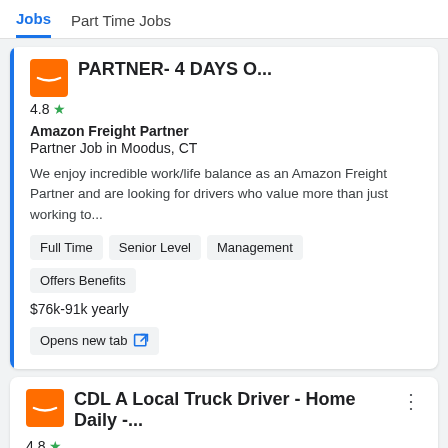Jobs  Part Time Jobs
PARTNER- 4 DAYS O...
Amazon Freight Partner
Partner Job in Moodus, CT
We enjoy incredible work/life balance as an Amazon Freight Partner and are looking for drivers who value more than just working to...
Full Time
Senior Level
Management
Offers Benefits
$76k-91k yearly
Opens new tab
CDL A Local Truck Driver - Home Daily -...
4.8 ★
Amazon Freight Part...